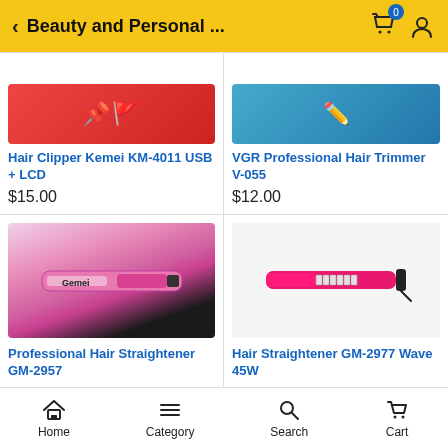Beauty and Personal ...
Hair Clipper Kemei KM-4011 USB + LCD
$15.00
VGR Professional Hair Trimmer V-055
$12.00
[Figure (photo): Gemei Professional Hair Straightener GM-2957 product photo with pink hair straightener and product box]
Professional Hair Straightener GM-2957
[Figure (photo): Pink hair crimper/wave straightener GM-2977 Wave 45W on white background]
Hair Straightener GM-2977 Wave 45W
Home  Category  Search  Cart